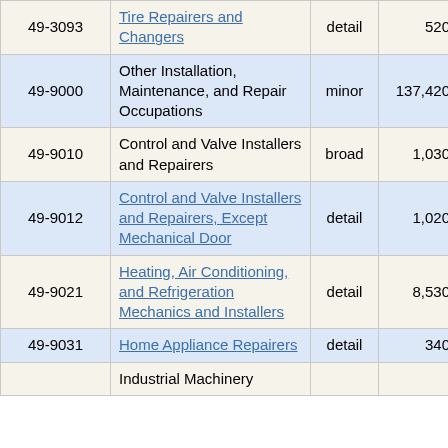| Code | Occupation | Type | Employment | ... |
| --- | --- | --- | --- | --- |
| 49-3093 | Tire Repairers and Changers | detail | 520 | 20... |
| 49-9000 | Other Installation, Maintenance, and Repair Occupations | minor | 137,420 | 2... |
| 49-9010 | Control and Valve Installers and Repairers | broad | 1,030 | 23... |
| 49-9012 | Control and Valve Installers and Repairers, Except Mechanical Door | detail | 1,020 | 23... |
| 49-9021 | Heating, Air Conditioning, and Refrigeration Mechanics and Installers | detail | 8,530 | 13... |
| 49-9031 | Home Appliance Repairers | detail | 340 | 41... |
| 49-9041 (partial) | Industrial Machinery... |  |  |  |